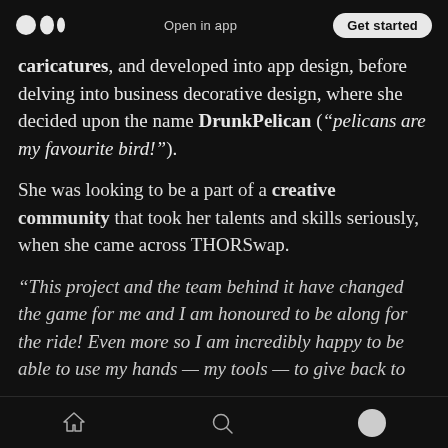Open in app | Get started
caricatures, and developed into app design, before delving into business decorative design, where she decided upon the name DrunkPelican ("pelicans are my favourite bird!").
She was looking to be a part of a creative community that took her talents and skills seriously, when she came across THORSwap.
“This project and the team behind it have changed the game for me and I am honoured to be along for the ride! Even more so I am incredibly happy to be able to use my hands — my tools — to give back to
Home | Search | Profile